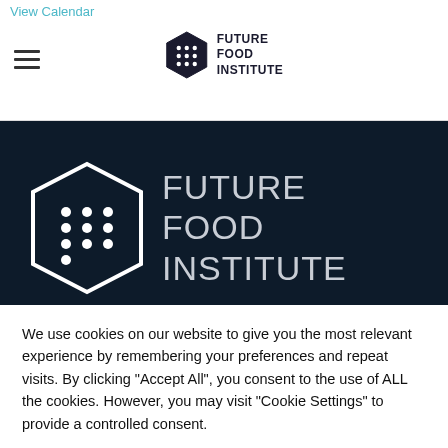View Calendar
[Figure (logo): Future Food Institute hexagon logo with dots inside, shown in navigation bar with text FUTURE FOOD INSTITUTE]
[Figure (logo): Future Food Institute large white hexagon logo with dots on dark navy background, with text FUTURE FOOD INSTITUTE in large light grey letters]
Future Food Institute exists to make a systemic positive change...
We use cookies on our website to give you the most relevant experience by remembering your preferences and repeat visits. By clicking "Accept All", you consent to the use of ALL the cookies. However, you may visit "Cookie Settings" to provide a controlled consent.
Cookie Settings   Accept All